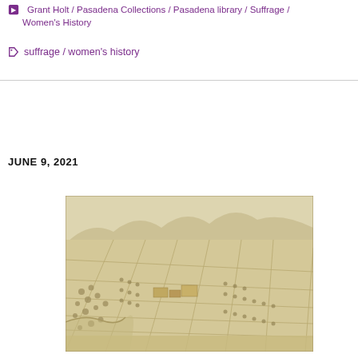Grant Holt / Pasadena Collections / Pasadena library / Suffrage / Women's History
suffrage / women's history
JUNE 9, 2021
[Figure (photo): A sepia-toned bird's-eye view illustration of Pasadena showing grid-pattern streets, orchards and agricultural plots, with mountains in the background.]